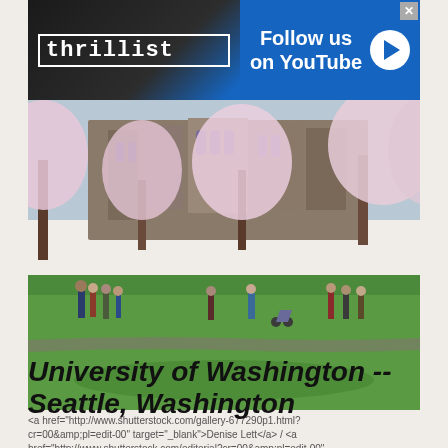[Figure (other): Thrillist advertisement banner with logo on left and 'Follow us on YouTube' text with play button on right, blue background]
[Figure (photo): Outdoor photo of University of Washington campus in spring with cherry blossom trees in bloom, people walking on green lawn, Gothic-style university buildings in background]
<a href="http://www.shutterstock.com/gallery-677290p1.html?cr=00&amp;pl=edit-00" target="_blank">Denise Lett</a> / <a href="http://www.shutterstock.com/editorial?cr=00&amp;pl=edit-00" target="_blank">Shutterstock.com</a>
University of Washington -- Seattle, Washington